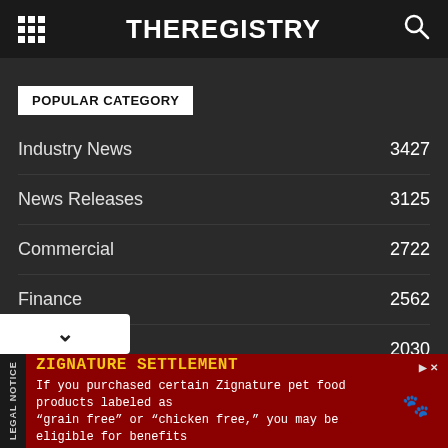THEREGISTRY
POPULAR CATEGORY
Industry News 3427
News Releases 3125
Commercial 2722
Finance 2562
Residential 2030
AEC 1750
People on the Move 777
ZIGNATURE SETTLEMENT
If you purchased certain Zignature pet food products labeled as "grain free" or "chicken free," you may be eligible for benefits